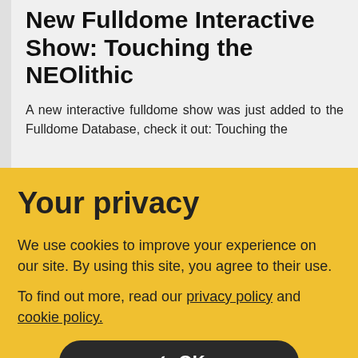New Fulldome Interactive Show: Touching the NEOlithic
A new interactive fulldome show was just added to the Fulldome Database, check it out: Touching the
Your privacy
We use cookies to improve your experience on our site. By using this site, you agree to their use.
To find out more, read our privacy policy and cookie policy.